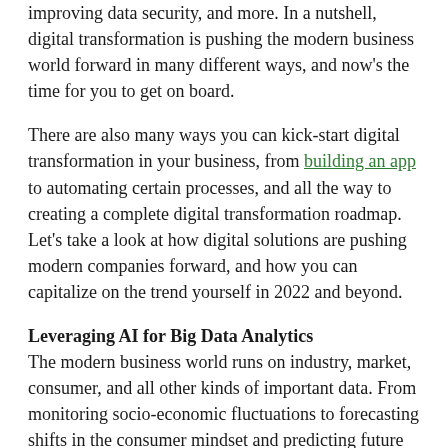improving data security, and more. In a nutshell, digital transformation is pushing the modern business world forward in many different ways, and now's the time for you to get on board.
There are also many ways you can kick-start digital transformation in your business, from building an app to automating certain processes, and all the way to creating a complete digital transformation roadmap. Let's take a look at how digital solutions are pushing modern companies forward, and how you can capitalize on the trend yourself in 2022 and beyond.
Leveraging AI for Big Data Analytics
The modern business world runs on industry, market, consumer, and all other kinds of important data. From monitoring socio-economic fluctuations to forecasting shifts in the consumer mindset and predicting future global crises,